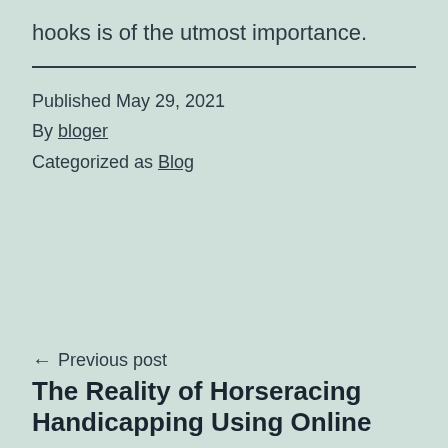hooks is of the utmost importance.
Published May 29, 2021
By bloger
Categorized as Blog
← Previous post
The Reality of Horseracing Handicapping Using Online